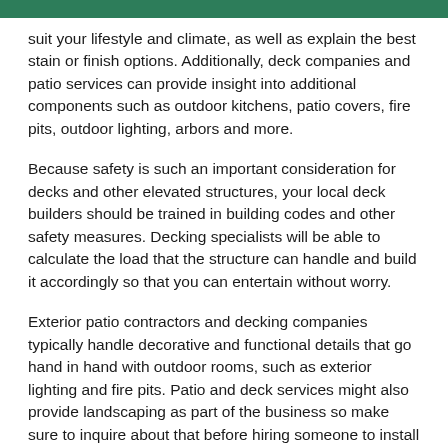[Figure (other): Green header bar at the top of the page]
suit your lifestyle and climate, as well as explain the best stain or finish options. Additionally, deck companies and patio services can provide insight into additional components such as outdoor kitchens, patio covers, fire pits, outdoor lighting, arbors and more.
Because safety is such an important consideration for decks and other elevated structures, your local deck builders should be trained in building codes and other safety measures. Decking specialists will be able to calculate the load that the structure can handle and build it accordingly so that you can entertain without worry.
Exterior patio contractors and decking companies typically handle decorative and functional details that go hand in hand with outdoor rooms, such as exterior lighting and fire pits. Patio and deck services might also provide landscaping as part of the business so make sure to inquire about that before hiring someone to install them with